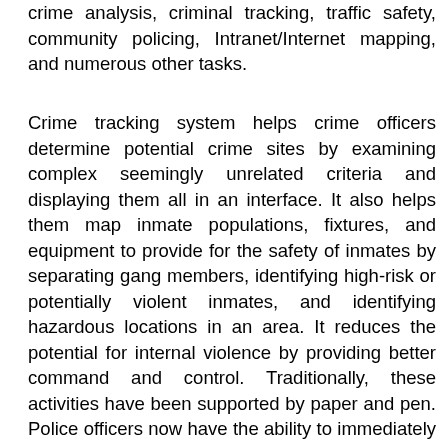crime analysis, criminal tracking, traffic safety, community policing, Intranet/Internet mapping, and numerous other tasks.
Crime tracking system helps crime officers determine potential crime sites by examining complex seemingly unrelated criteria and displaying them all in an interface. It also helps them map inmate populations, fixtures, and equipment to provide for the safety of inmates by separating gang members, identifying high-risk or potentially violent inmates, and identifying hazardous locations in an area. It reduces the potential for internal violence by providing better command and control. Traditionally, these activities have been supported by paper and pen. Police officers now have the ability to immediately generate crime report directly relevant to the situation at hand. Police agencies collect vast amounts of data